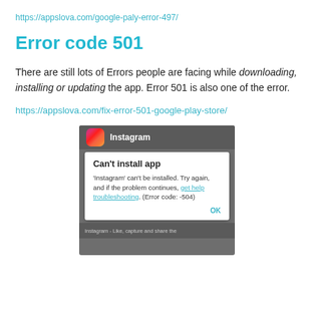https://appslova.com/google-paly-error-497/
Error code 501
There are still lots of Errors people are facing while downloading, installing or updating the app. Error 501 is also one of the error.
https://appslova.com/fix-error-501-google-play-store/
[Figure (screenshot): Screenshot of Android Google Play Store error dialog showing 'Can't install app' message for Instagram with error code -504 and an OK button]